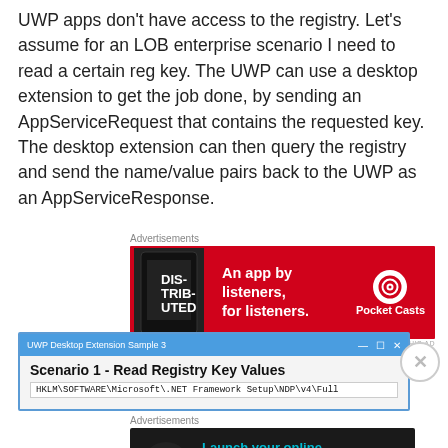UWP apps don't have access to the registry. Let's assume for an LOB enterprise scenario I need to read a certain reg key. The UWP can use a desktop extension to get the job done, by sending an AppServiceRequest that contains the requested key. The desktop extension can then query the registry and send the name/value pairs back to the UWP as an AppServiceResponse.
[Figure (screenshot): Advertisement banner: Pocket Casts - An app by listeners, for listeners. Red background with phone image and Pocket Casts logo.]
[Figure (screenshot): Screenshot of UWP Desktop Extension Sample 3 app window showing Scenario 1 - Read Registry Key Values with a registry path text field starting with HKLM\SOFTWARE\Microsoft\.NET Framework Setup\NDP\v4\Full]
[Figure (screenshot): Advertisement banner: Launch your online course with WordPress - Learn More. Dark background with teal text and tree/upload icon.]